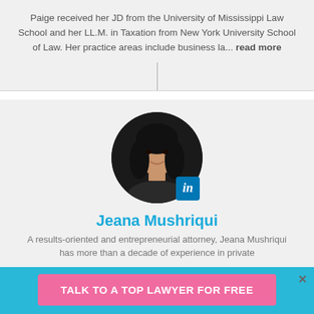Paige received her JD from the University of Mississippi Law School and her LL.M. in Taxation from New York University School of Law. Her practice areas include business la... read more
Jeana Mushriqui
[Figure (photo): Circular profile photo of Jeana Mushriqui, a woman with long dark hair, smiling, with a LinkedIn badge overlay in the bottom right corner]
A results-oriented and entrepreneurial attorney, Jeana Mushriqui has more than a decade of experience in private
TALK TO A TOP LAWYER FOR FREE